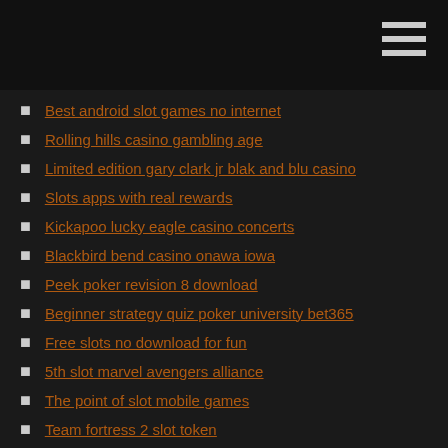Best android slot games no internet
Rolling hills casino gambling age
Limited edition gary clark jr blak and blu casino
Slots apps with real rewards
Kickapoo lucky eagle casino concerts
Blackbird bend casino onawa iowa
Peek poker revision 8 download
Beginner strategy quiz poker university bet365
Free slots no download for fun
5th slot marvel avengers alliance
The point of slot mobile games
Team fortress 2 slot token
Dow jones us gambling index components
Google daydream controller and casino poker vr